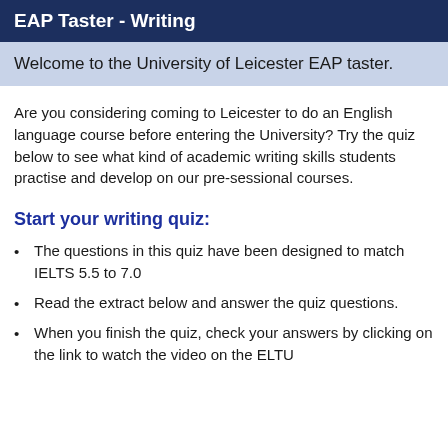EAP Taster - Writing
Welcome to the University of Leicester EAP taster.
Are you considering coming to Leicester to do an English language course before entering the University? Try the quiz below to see what kind of academic writing skills students practise and develop on our pre-sessional courses.
Start your writing quiz:
The questions in this quiz have been designed to match IELTS 5.5 to 7.0
Read the extract below and answer the quiz questions.
When you finish the quiz, check your answers by clicking on the link to watch the video on the ELTU